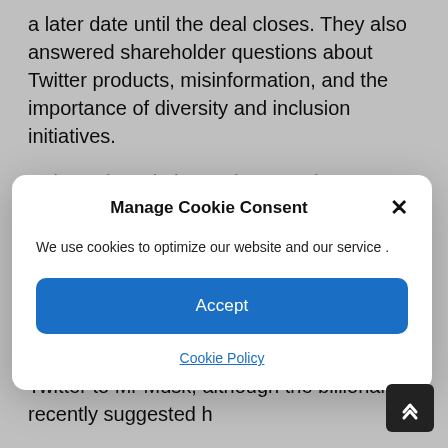a later date until the deal closes. They also answered shareholder questions about Twitter products, misinformation, and the importance of diversity and inclusion initiatives.
Twitter's board also underwent changes on
[Figure (screenshot): Cookie consent modal dialog with title 'Manage Cookie Consent', body text 'We use cookies to optimize our website and our service .', an Accept button, and a Cookie Policy link. An X close button is in the top right corner.]
decision on Thursday.
Behind the scenes, staff and advisers said Mr Agrawal had worked with bankers and board members to complete the sale of Twitter to Mr Musk, although the billionaire recently suggested h